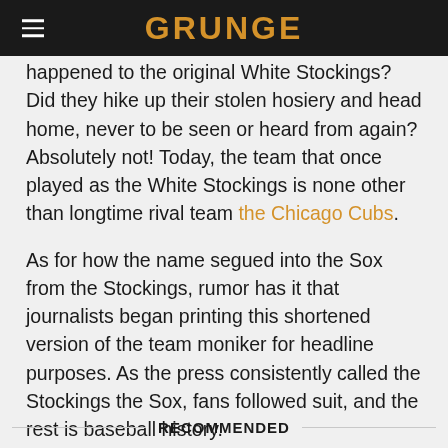GRUNGE
happened to the original White Stockings? Did they hike up their stolen hosiery and head home, never to be seen or heard from again? Absolutely not! Today, the team that once played as the White Stockings is none other than longtime rival team the Chicago Cubs.
As for how the name segued into the Sox from the Stockings, rumor has it that journalists began printing this shortened version of the team moniker for headline purposes. As the press consistently called the Stockings the Sox, fans followed suit, and the rest is baseball history.
RECOMMENDED